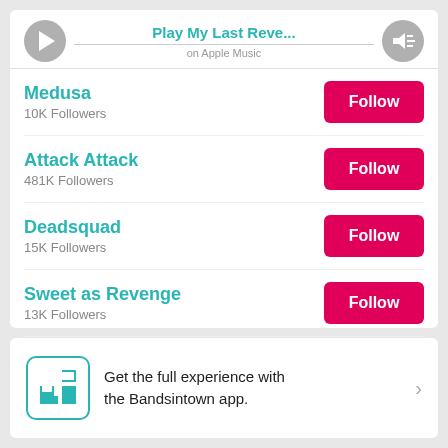[Figure (screenshot): Music player bar showing Play My Last Reve... on Apple Music with play and volume buttons]
Medusa
10K Followers
Attack Attack
481K Followers
Deadsquad
15K Followers
Sweet as Revenge
13K Followers
Beside
16K Followers
Get the full experience with the Bandsintown app.